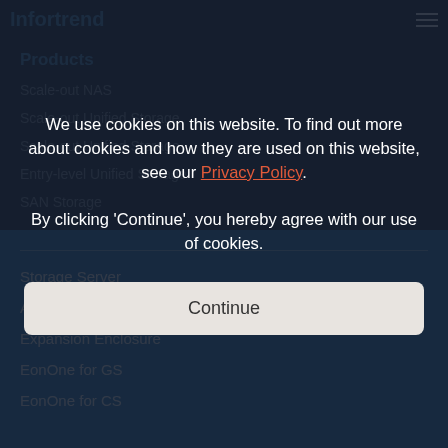Infortrend (logo) — hamburger menu
Products
Scale-out NAS
Scale-out Unified Storage
Scale-out Unified Storage (second)
Entry-level Unified Storage
SAN Storage
Storage Server
AI Computing Storage System
Expansion Enclosure
EonOne for GS
EonOne for CS
We use cookies on this website. To find out more about cookies and how they are used on this website, see our Privacy Policy. By clicking 'Continue', you hereby agree with our use of cookies.
Continue